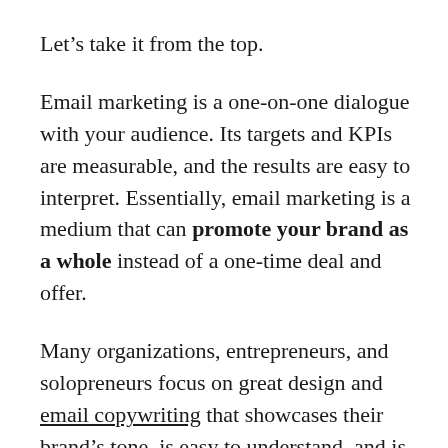Let's take it from the top.
Email marketing is a one-on-one dialogue with your audience. Its targets and KPIs are measurable, and the results are easy to interpret. Essentially, email marketing is a medium that can promote your brand as a whole instead of a one-time deal and offer.
Many organizations, entrepreneurs, and solopreneurs focus on great design and email copywriting that showcases their brand's tone, is easy to understand, and is valuable to the recipient. Even more so, they focus on creating personal email